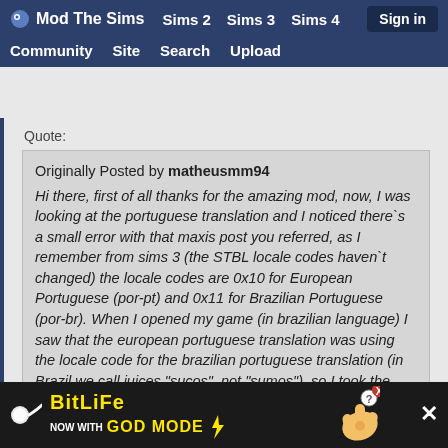Mod The Sims | Sims 2 | Sims 3 | Sims 4 | Community | Site | Search | Upload | Sign in
Quote:
Originally Posted by matheusmm94
Hi there, first of all thanks for the amazing mod, now, I was looking at the portuguese translation and I noticed there`s a small error with that maxis post you referred, as I remember from sims 3 (the STBL locale codes haven`t changed) the locale codes are 0x10 for European Portuguese (por-pt) and 0x11 for Brazilian Portuguese (por-br). When I opened my game (in brazilian language) I saw that the european portuguese translation was using the locale code for the brazilian portuguese translation (in Brazil we call juices "sucos", not "sumos"), so I took the liberty of replacing the european translation and adding a correct brazilian translation, I also added both portuguese translations for the orange
[Figure (screenshot): BitLife advertisement banner showing 'BitLife NOW WITH GOD MODE' text with cartoon graphics]